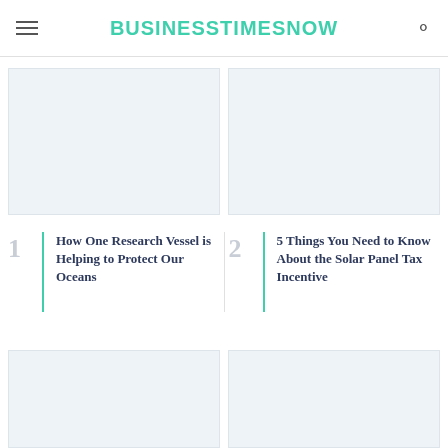BUSINESSTIMESNOW
[Figure (photo): Image placeholder for article 1 - How One Research Vessel is Helping to Protect Our Oceans]
[Figure (photo): Image placeholder for article 2 - 5 Things You Need to Know About the Solar Panel Tax Incentive]
How One Research Vessel is Helping to Protect Our Oceans
5 Things You Need to Know About the Solar Panel Tax Incentive
[Figure (photo): Image placeholder for article 3 (bottom left)]
[Figure (photo): Image placeholder for article 4 (bottom right)]